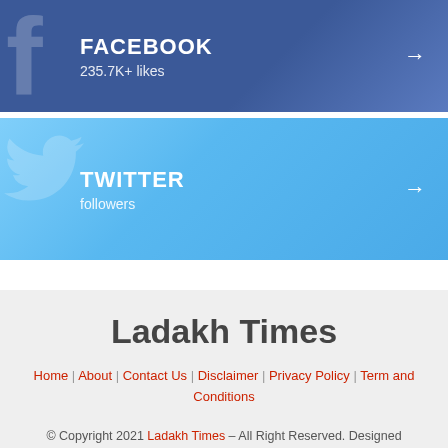[Figure (infographic): Facebook social media widget bar with dark blue gradient background, Facebook 'f' logo watermark, bold text 'FACEBOOK', subtext '235.7K+ likes', and right arrow]
[Figure (infographic): Twitter social media widget bar with light blue gradient background, Twitter bird logo watermark, bold text 'TWITTER', subtext 'followers', and right arrow]
Ladakh Times
Home | About | Contact Us | Disclaimer | Privacy Policy | Term and Conditions
© Copyright 2021 Ladakh Times – All Right Reserved. Designed by Make My India Online